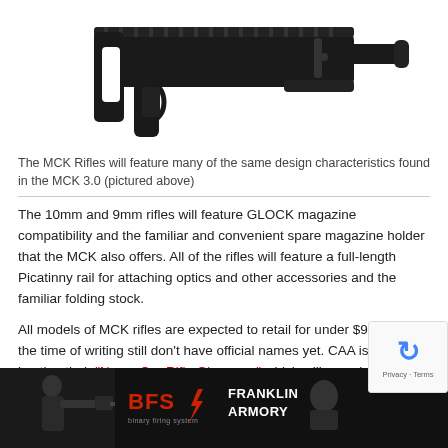[Figure (photo): Black MCK 3.0 pistol carbine conversion kit shown from above, dark background]
The MCK Rifles will feature many of the same design characteristics found in the MCK 3.0 (pictured above)
The 10mm and 9mm rifles will feature GLOCK magazine compatibility and the familiar and convenient spare magazine holder that the MCK also offers. All of the rifles will feature a full-length Picatinny rail for attaching optics and other accessories and the familiar folding stock.
All models of MCK rifles are expected to retail for under $900 and at the time of writing still don't have official names yet. CAA is currently hosting their "Name Our Rifle Giveaway" which will award each of the winners with the rifle they have named. The new MCK Rifles are expected to make a full launch starting in Q4 of 2022 and wrapping up in early 2023. I'm personally hoping to see prototypes at 2022 and more det...
[Figure (photo): Franklin Armory advertisement banner with shooter and BFS logo]
[Figure (other): reCAPTCHA widget overlay in bottom right corner]